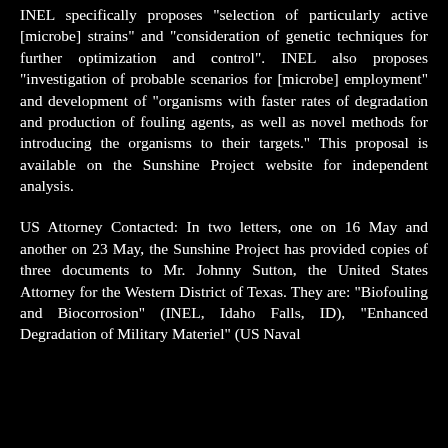INEL specifically proposes "selection of particularly active [microbe] strains" and "consideration of genetic techniques for further optimization and control". INEL also proposes "investigation of probable scenarios for [microbe] employment" and development of "organisms with faster rates of degradation and production of fouling agents, as well as novel methods for introducing the organisms to their targets." This proposal is available on the Sunshine Project website for independent analysis.
US Attorney Contacted: In two letters, one on 16 May and another on 23 May, the Sunshine Project has provided copies of three documents to Mr. Johnny Sutton, the United States Attorney for the Western District of Texas. They are: "Biofouling and Biocorrosion" (INEL, Idaho Falls, ID), "Enhanced Degradation of Military Materiel" (US Naval